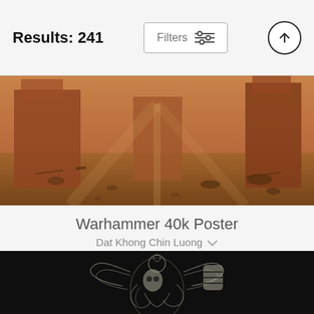Results: 241 | Filters
[Figure (photo): Fantasy painting of a barren, rocky desert landscape with warm orange and brown tones, scattered debris and ruins]
Warhammer 40k Poster
Dat Khong Chin Luong
$17 (strikethrough) $14
[Figure (photo): Black and white ink illustration of a Warhammer 40k Space Marine or fantasy warrior figure with wings and raised fist, on black background]